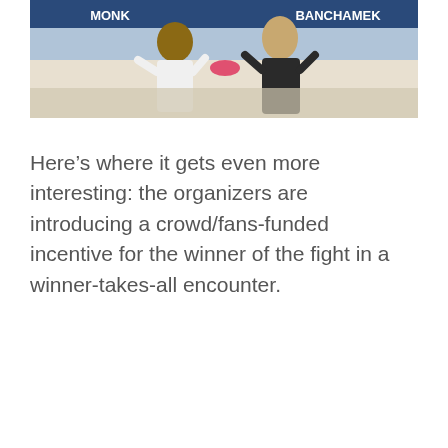[Figure (photo): Two men standing at a press conference table. A banner behind them shows 'MONK' on the left and 'BANCHAMEK' on the right. The man on the left wears a white shirt, the man on the right wears a black outfit. Both are gesturing with their hands.]
Here's where it gets even more interesting: the organizers are introducing a crowd/fans-funded incentive for the winner of the fight in a winner-takes-all encounter.